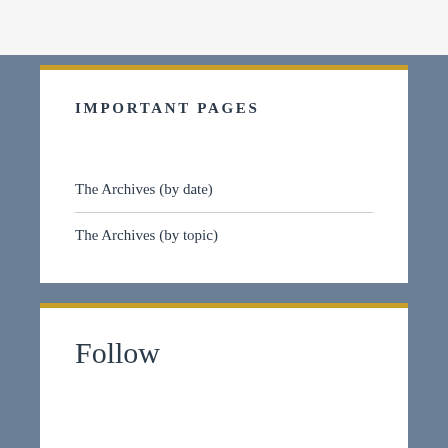IMPORTANT PAGES
The Archives (by date)
The Archives (by topic)
Follow